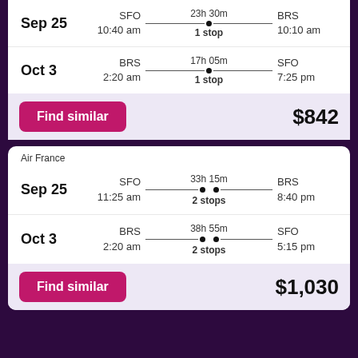Sep 25 | SFO 10:40 am | 23h 30m 1 stop | BRS 10:10 am
Oct 3 | BRS 2:20 am | 17h 05m 1 stop | SFO 7:25 pm
Find similar    $842
Air France
Sep 25 | SFO 11:25 am | 33h 15m 2 stops | BRS 8:40 pm
Oct 3 | BRS 2:20 am | 38h 55m 2 stops | SFO 5:15 pm
Find similar    $1,030